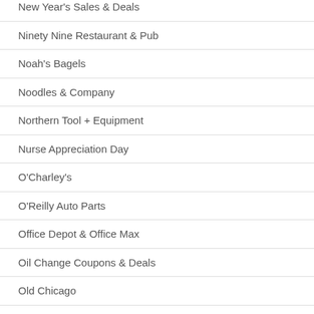New Year's Sales & Deals
Ninety Nine Restaurant & Pub
Noah's Bagels
Noodles & Company
Northern Tool + Equipment
Nurse Appreciation Day
O'Charley's
O'Reilly Auto Parts
Office Depot & Office Max
Oil Change Coupons & Deals
Old Chicago
Old Navy
Old Spaghetti Factory (The)
Ole Piper Inn